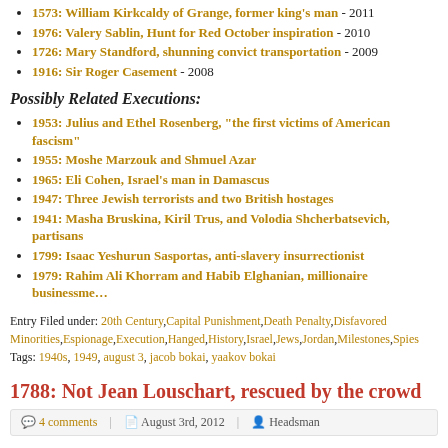1573: William Kirkcaldy of Grange, former king's man - 2011
1976: Valery Sablin, Hunt for Red October inspiration - 2010
1726: Mary Standford, shunning convict transportation - 2009
1916: Sir Roger Casement - 2008
Possibly Related Executions:
1953: Julius and Ethel Rosenberg, “the first victims of American fascism”
1955: Moshe Marzouk and Shmuel Azar
1965: Eli Cohen, Israel’s man in Damascus
1947: Three Jewish terrorists and two British hostages
1941: Masha Bruskina, Kiril Trus, and Volodia Shcherbatsevich, partisans
1799: Isaac Yeshurun Sasportas, anti-slavery insurrectionist
1979: Rahim Ali Khorram and Habib Elghanian, millionaire businessme…
Entry Filed under: 20th Century, Capital Punishment, Death Penalty, Disfavored Minorities, Espionage, Execution, Hanged, History, Israel, Jews, Jordan, Milestones, Spies
Tags: 1940s, 1949, august 3, jacob bokai, yaakov bokai
1788: Not Jean Louschart, rescued by the crowd
4 comments  |  August 3rd, 2012  |  Headsman
On this date in 1788, France’s last attempt at an execution by breaking-wheel was thwarted by a vast crowd sympathetic to the condemned … which stormed the scaffold in Versailles and liberated the victim.